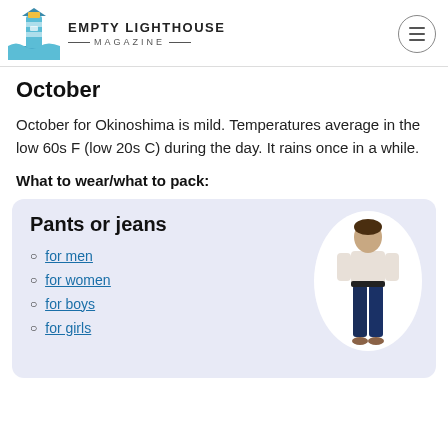EMPTY LIGHTHOUSE MAGAZINE
October
October for Okinoshima is mild. Temperatures average in the low 60s F (low 20s C) during the day. It rains once in a while.
What to wear/what to pack:
[Figure (infographic): Product card with light blue background showing 'Pants or jeans' title, a list of links (for men, for women, for boys, for girls), and a circular image of a woman wearing dark jeans on the right side.]